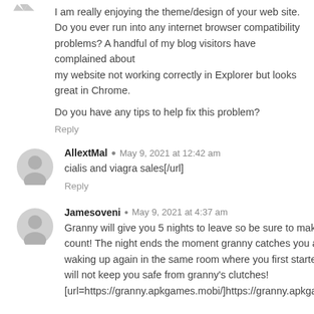I am really enjoying the theme/design of your web site. Do you ever run into any internet browser compatibility problems? A handful of my blog visitors have complained about my website not working correctly in Explorer but looks great in Chrome.

Do you have any tips to help fix this problem?
Reply
AllextMal  •  May 9, 2021 at 12:42 am
cialis and viagra sales[/url]
Reply
Jamesoveni  •  May 9, 2021 at 4:37 am
Granny will give you 5 nights to leave so be sure to make every night count! The night ends the moment granny catches you and you will be waking up again in the same room where you first started. This room will not keep you safe from granny's clutches! [url=https://granny.apkgames.mobi/]https://granny.apkgames.mobi/[/url]